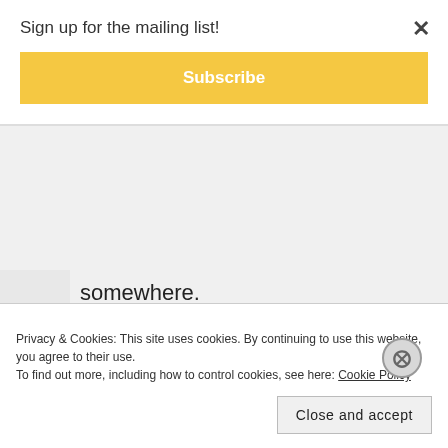Sign up for the mailing list!
Subscribe
somewhere.
And on Torchwood, the reception here has actually been pretty poor, with it relegated to quasi-random timeslots on an obscure channel (if
Privacy & Cookies: This site uses cookies. By continuing to use this website, you agree to their use.
To find out more, including how to control cookies, see here: Cookie Policy
Close and accept